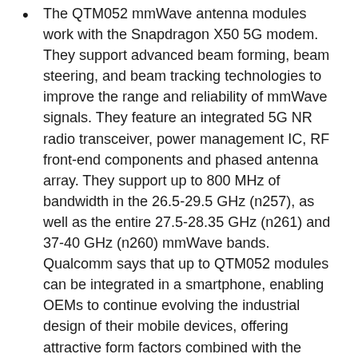The QTM052 mmWave antenna modules work with the Snapdragon X50 5G modem. They support advanced beam forming, beam steering, and beam tracking technologies to improve the range and reliability of mmWave signals. They feature an integrated 5G NR radio transceiver, power management IC, RF front-end components and phased antenna array. They support up to 800 MHz of bandwidth in the 26.5-29.5 GHz (n257), as well as the entire 27.5-28.35 GHz (n261) and 37-40 GHz (n260) mmWave bands. Qualcomm says that up to QTM052 modules can be integrated in a smartphone, enabling OEMs to continue evolving the industrial design of their mobile devices, offering attractive form factors combined with the benefits of extremely high speeds from mmWave 5G NR, and making such devices available for launch as early as the first half of 2019.
The QPM56xx RF module family (including the QPM5650, QPM5651, QDM5650, and...